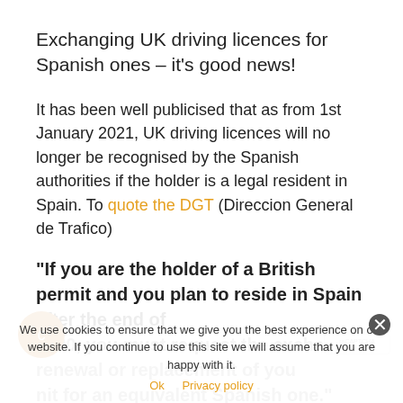Exchanging UK driving licences for Spanish ones – it's good news!
It has been well publicised that as from 1st January 2021, UK driving licences will no longer be recognised by the Spanish authorities if the holder is a legal resident in Spain. To quote the DGT (Direccion General de Trafico)
“If you are the holder of a British permit and you plan to reside in Spain after the end of 2020, you must request the exchange, renewal or replacement of your permit for an equivalent Spanish one.”
We use cookies to ensure that we give you the best experience on our website. If you continue to use this site we will assume that you are happy with it.
Ok  Privacy policy